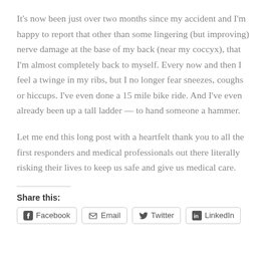It's now been just over two months since my accident and I'm happy to report that other than some lingering (but improving) nerve damage at the base of my back (near my coccyx), that I'm almost completely back to myself. Every now and then I feel a twinge in my ribs, but I no longer fear sneezes, coughs or hiccups. I've even done a 15 mile bike ride. And I've even already been up a tall ladder — to hand someone a hammer.
Let me end this long post with a heartfelt thank you to all the first responders and medical professionals out there literally risking their lives to keep us safe and give us medical care.
Share this:
Facebook
Email
Twitter
LinkedIn